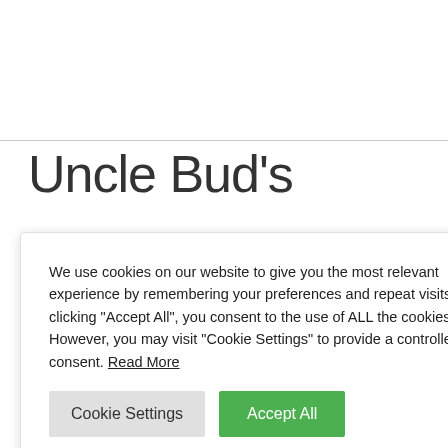[Figure (other): Top image area, blank/white with a bottom border line]
Uncle Bud's
We use cookies on our website to give you the most relevant experience by remembering your preferences and repeat visits. By clicking “Accept All”, you consent to the use of ALL the cookies. However, you may visit "Cookie Settings" to provide a controlled consent. Read More
cines that did rett feared he as on a mission ked, and had no
to formulate a